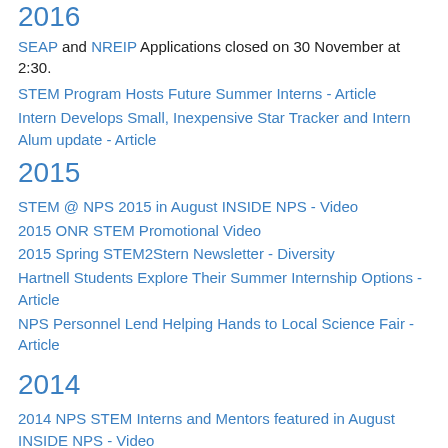2016
SEAP and NREIP Applications closed on 30 November at 2:30.
STEM Program Hosts Future Summer Interns - Article
Intern Develops Small, Inexpensive Star Tracker and Intern Alum update - Article
2015
STEM @ NPS 2015 in August INSIDE NPS - Video
2015 ONR STEM Promotional Video
2015 Spring STEM2Stern Newsletter - Diversity
Hartnell Students Explore Their Summer Internship Options - Article
NPS Personnel Lend Helping Hands to Local Science Fair - Article
2014
2014 NPS STEM Interns and Mentors featured in August INSIDE NPS - Video
NPS Mentors Work to Close the Gender Gap in STEM